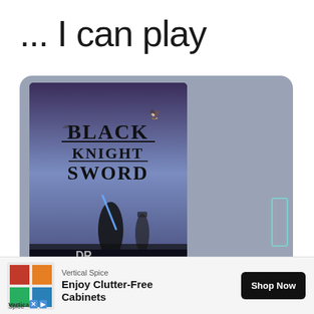... I can play
[Figure (screenshot): A tablet/device UI showing the game cover art for 'Black Knight Sword' by Digital Reality and Grasshopper Manufacture, displayed inside a rounded gray card container with a scroll indicator on the right side]
Vertical Spice
Enjoy Clutter-Free Cabinets
Shop Now